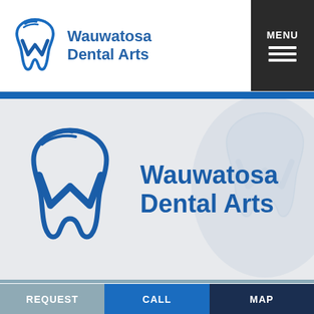[Figure (logo): Wauwatosa Dental Arts logo in header: tooth icon with W shape in blue, with text 'Wauwatosa Dental Arts' in blue]
[Figure (logo): Wauwatosa Dental Arts large logo in hero section: large blue tooth/W icon on left, 'Wauwatosa Dental Arts' bold blue text on right, on light grey background]
REQUEST
CALL
MAP